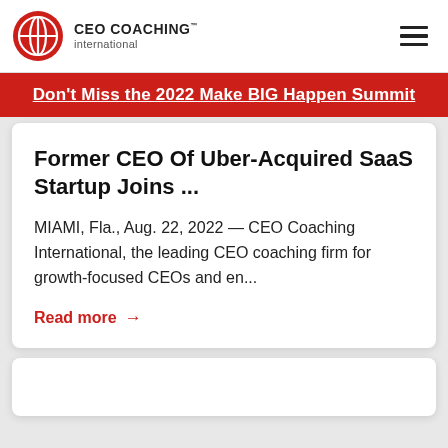CEO COACHING international
Don't Miss the 2022 Make BIG Happen Summit
Former CEO Of Uber-Acquired SaaS Startup Joins ...
MIAMI, Fla., Aug. 22, 2022 — CEO Coaching International, the leading CEO coaching firm for growth-focused CEOs and en...
Read more →